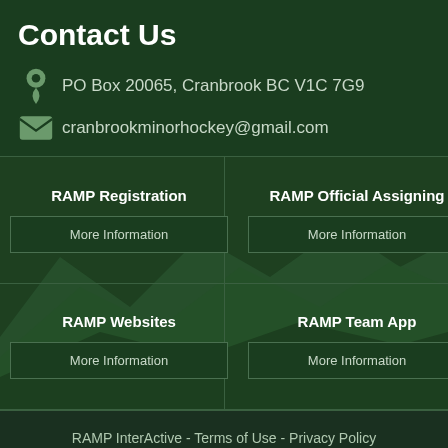Contact Us
PO Box 20065, Cranbrook BC V1C 7G9
cranbrookminorhockey@gmail.com
RAMP Registration
More Information
RAMP Official Assigning
More Information
RAMP Websites
More Information
RAMP Team App
More Information
RAMP InterActive - Terms of Use - Privacy Policy
Admin Login